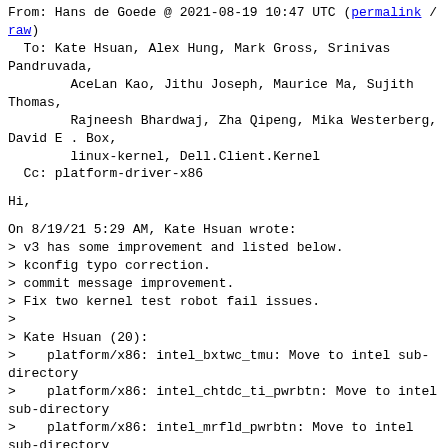From: Hans de Goede @ 2021-08-19 10:47 UTC (permalink / raw)
  To: Kate Hsuan, Alex Hung, Mark Gross, Srinivas Pandruvada,
        AceLan Kao, Jithu Joseph, Maurice Ma, Sujith Thomas,
        Rajneesh Bhardwaj, Zha Qipeng, Mika Westerberg, David E . Box,
        linux-kernel, Dell.Client.Kernel
  Cc: platform-driver-x86
Hi,
On 8/19/21 5:29 AM, Kate Hsuan wrote:
> v3 has some improvement and listed below.
> kconfig typo correction.
> commit message improvement.
> Fix two kernel test robot fail issues.
>
> Kate Hsuan (20):
>    platform/x86: intel_bxtwc_tmu: Move to intel sub-directory
>    platform/x86: intel_chtdc_ti_pwrbtn: Move to intel sub-directory
>    platform/x86: intel_mrfld_pwrbtn: Move to intel sub-directory
>    platform/x86: intel_punit_ipc: Move to intel sub-directory
>    platform/x86: intel_pmc_core: Move to intel sub-directory